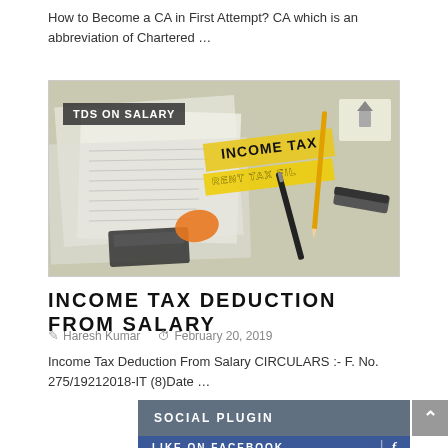How to Become a CA in First Attempt? CA which is an abbreviation of Chartered …
[Figure (photo): Photo of income tax documents, papers, a calculator, pen, and pencil on a desk with 'INCOME TAX' and 'RENT TAX FILE' text visible. 'TDS ON SALARY' label overlaid in top-left corner.]
INCOME TAX DEDUCTION FROM SALARY
Haresh Kumar   February 20, 2019
Income Tax Deduction From Salary CIRCULARS :- F. No. 275/19212018-IT (8)Date …
SOCIAL PLUGIN
LIKE ON FACEBOOK